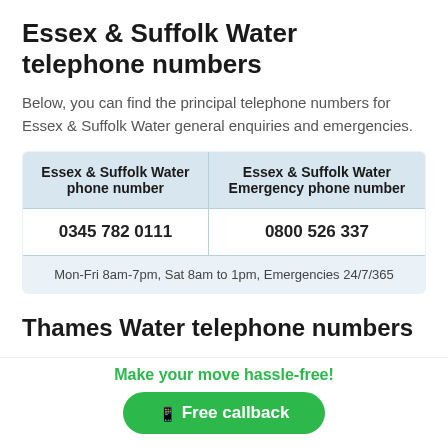Essex & Suffolk Water telephone numbers
Below, you can find the principal telephone numbers for Essex & Suffolk Water general enquiries and emergencies.
| Essex & Suffolk Water phone number | Essex & Suffolk Water Emergency phone number |
| --- | --- |
| 0345 782 0111 | 0800 526 337 |
| Mon-Fri 8am-7pm, Sat 8am to 1pm, Emergencies 24/7/365 |  |
Thames Water telephone numbers
Below, you can find the principal telephone numbers for